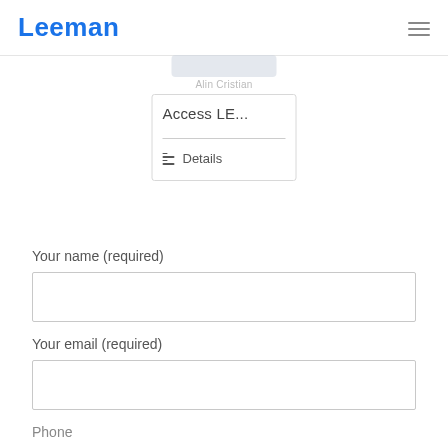Leeman
[Figure (screenshot): A UI card component showing 'Access LE...' title with a Details button, partially obscured by an overlapping button at top. Card has a horizontal divider and a list-icon Details link.]
Your name (required)
Your email (required)
Phone